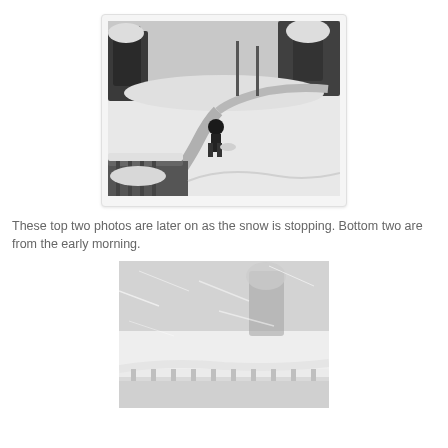[Figure (photo): Outdoor winter scene showing deep snow on a path/driveway with a person shoveling snow in the middle distance. Snow-covered trees in the background. View from an elevated deck with snow-covered railings in the foreground.]
These top two photos are later on as the snow is stopping. Bottom two are from the early morning.
[Figure (photo): Outdoor winter scene during heavy snowstorm. Blizzard conditions with low visibility. Snow-covered railings and trees visible. Very white/grey atmosphere from blowing snow.]